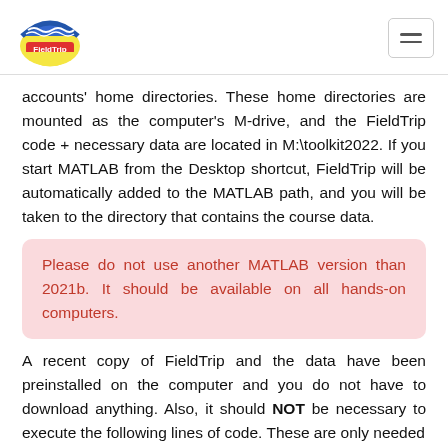FieldTrip logo and navigation
accounts' home directories. These home directories are mounted as the computer's M-drive, and the FieldTrip code + necessary data are located in M:\toolkit2022. If you start MATLAB from the Desktop shortcut, FieldTrip will be automatically added to the MATLAB path, and you will be taken to the directory that contains the course data.
Please do not use another MATLAB version than 2021b. It should be available on all hands-on computers.
A recent copy of FieldTrip and the data have been preinstalled on the computer and you do not have to download anything. Also, it should NOT be necessary to execute the following lines of code. These are only needed